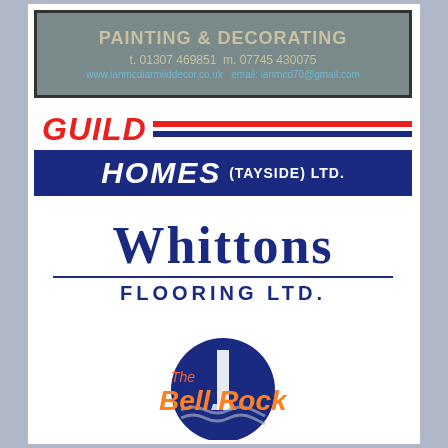[Figure (logo): Painting & Decorating advertisement with grey background. Text: PAINTING & DECORATING, t: 01307 469851 m: 07745 430075, www.ianmcdiarmiiddecor.co.uk email: ianmcd70@gmail.com]
[Figure (logo): Guild Homes (Tayside) Ltd. logo with red GUILD text, red and blue horizontal stripes, and blue bar with white HOMES (TAYSIDE) LTD. text]
[Figure (logo): Whittons Flooring Ltd. logo with large dark blue serif text WHITTONS, horizontal line, and FLOORING LTD. text below]
[Figure (logo): The Bell Rock logo with circular dark blue emblem featuring a lighthouse and waves, with orange-red and orange script text]